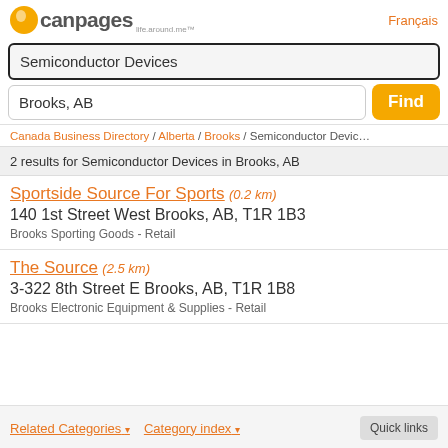[Figure (logo): Canpages logo with orange circle and text 'canpages life.around.me']
Français
Semiconductor Devices
Brooks, AB
Find
Canada Business Directory / Alberta / Brooks / Semiconductor Devic…
2 results for Semiconductor Devices in Brooks, AB
Sportside Source For Sports (0.2 km)
140 1st Street West Brooks, AB, T1R 1B3
Brooks Sporting Goods - Retail
The Source (2.5 km)
3-322 8th Street E Brooks, AB, T1R 1B8
Brooks Electronic Equipment & Supplies - Retail
Related Categories ▾
Category index ▾
Quick links